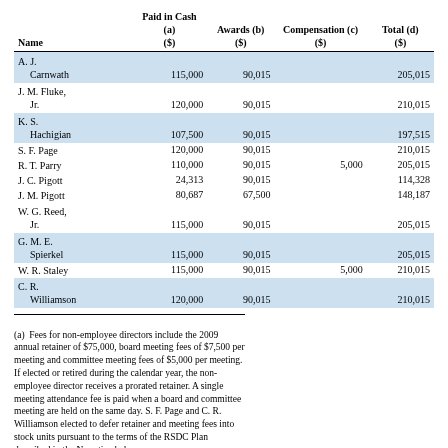| Name | Paid in Cash (a) ($) | Awards (b) ($) | Compensation (c) ($) | Total (d) ($) |
| --- | --- | --- | --- | --- |
| A. J. |  |  |  |  |
|   Carnwath | 115,000 | 90,015 |  | 205,015 |
| J. M. Fluke, |  |  |  |  |
|   Jr. | 120,000 | 90,015 |  | 210,015 |
| K. S. |  |  |  |  |
|   Hachigian | 107,500 | 90,015 |  | 197,515 |
| S. F. Page | 120,000 | 90,015 |  | 210,015 |
| R. T. Parry | 110,000 | 90,015 | 5,000 | 205,015 |
| J. C. Pigott | 24,313 | 90,015 |  | 114,328 |
| J. M. Pigott | 80,687 | 67,500 |  | 148,187 |
| W. G. Reed, |  |  |  |  |
|   Jr. | 115,000 | 90,015 |  | 205,015 |
| G. M. E. |  |  |  |  |
|   Spierkel | 115,000 | 90,015 |  | 205,015 |
| W. R. Staley | 115,000 | 90,015 | 5,000 | 210,015 |
| C. R. |  |  |  |  |
|   Williamson | 120,000 | 90,015 |  | 210,015 |
(a) Fees for non-employee directors include the 2009 annual retainer of $75,000, board meeting fees of $7,500 per meeting and committee meeting fees of $5,000 per meeting. If elected or retired during the calendar year, the non-employee director receives a prorated retainer. A single meeting attendance fee is paid when a board and committee meeting are held on the same day. S. F. Page and C. R. Williamson elected to defer retainer and meeting fees into stock units pursuant to the terms of the RSDC Plan described in the Narrative below.